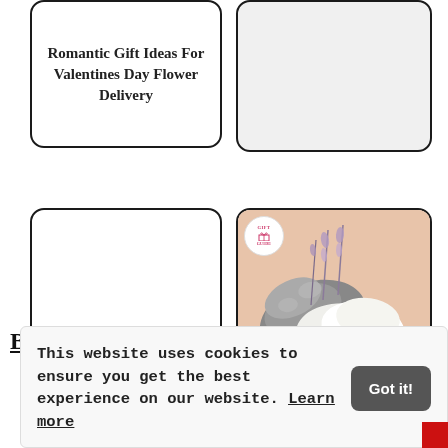[Figure (other): Card with text: Romantic Gift Ideas For Valentines Day Flower Delivery]
[Figure (other): Empty gray card placeholder]
[Figure (other): Card with text: Florist And Flowers Blog Special Flowers Flower Gift Ideas]
[Figure (photo): Photo of fluffy slippers (one gray, one white/cream) with lavender sprigs on a peach/salmon background, with a Gift Guide badge in top-left corner. Label at bottom: Digital Photo Frame]
Digital Photo Frame
Best New Christmas Flower Gift Ideas
This website uses cookies to ensure you get the best experience on our website. Learn more
Got it!